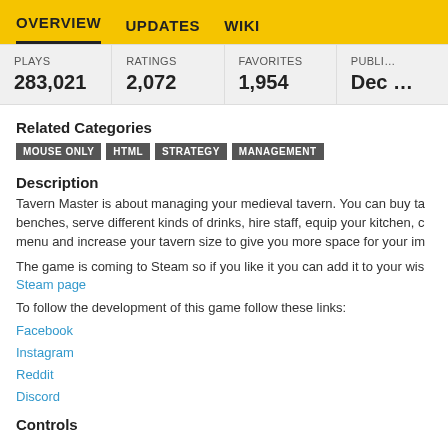OVERVIEW  UPDATES  WIKI
| PLAYS | RATINGS | FAVORITES | PUBLI… |
| --- | --- | --- | --- |
| 283,021 | 2,072 | 1,954 | Dec … |
Related Categories
MOUSE ONLY
HTML
STRATEGY
MANAGEMENT
Description
Tavern Master is about managing your medieval tavern. You can buy ta… benches, serve different kinds of drinks, hire staff, equip your kitchen, c… menu and increase your tavern size to give you more space for your im…
The game is coming to Steam so if you like it you can add it to your wis…
Steam page
To follow the development of this game follow these links:
Facebook
Instagram
Reddit
Discord
Controls